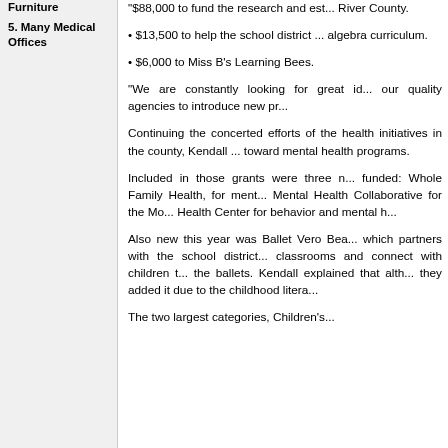Furniture
5. Many Medical Offices
• $88,000 to fund the research and est... River County.
• $13,500 to help the school district ... algebra curriculum.
• $6,000 to Miss B's Learning Bees.
“We are constantly looking for great id... our quality agencies to introduce new pr...
Continuing the concerted efforts of the... health initiatives in the county, Kendall ... toward mental health programs.
Included in those grants were three m... funded: Whole Family Health, for ment... Mental Health Collaborative for the Mo... Health Center for behavior and mental h...
Also new this year was Ballet Vero Bea... which partners with the school district... classrooms and connect with children t... the ballets. Kendall explained that alth... they added it due to the childhood litera...
The two largest categories, Children's...